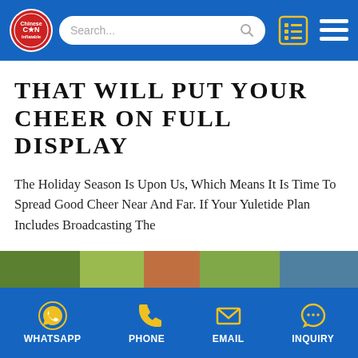[Figure (logo): Chinee Inflatable logo - red circular badge with C*N text and decorative border, on blue header bar with search box and navigation icons]
THAT WILL PUT YOUR CHEER ON FULL DISPLAY
The Holiday Season Is Upon Us, Which Means It Is Time To Spread Good Cheer Near And Far. If Your Yuletide Plan Includes Broadcasting The
I WANT TO READ MORE
[Figure (photo): Partial image strip showing outdoor inflatable displays]
WhatsApp  PHONE  EMAIL  INQUIRY